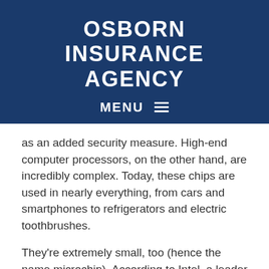OSBORN INSURANCE AGENCY
MENU ≡
as an added security measure. High-end computer processors, on the other hand, are incredibly complex. Today, these chips are used in nearly everything, from cars and smartphones to refrigerators and electric toothbrushes.
They're extremely small, too (hence the name microchip). According to Intel, a leader in chip manufacturing, a single chip transistor is about